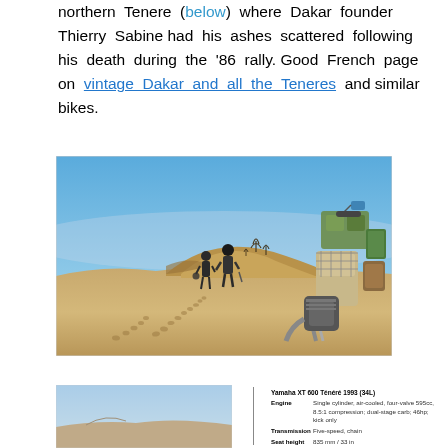northern Tenere (below) where Dakar founder Thierry Sabine had his ashes scattered following his death during the '86 rally. Good French page on vintage Dakar and all the Teneres and similar bikes.
[Figure (photo): Desert scene with two people walking on sand dunes with footprints, trees in background, and a heavily loaded adventure motorcycle in the foreground right side, blue sky above.]
[Figure (photo): Partial view of a landscape photo at bottom left of page, appears to be a desert or open terrain scene.]
| Yamaha XT 600 Ténéré 1993 (34L) |
| --- |
| Engine | Single cylinder, air-cooled, four-valve 595cc, 8.5:1 compression; dual-stage carb; 46hp; kick only |
| Transmission | Five-speed, chain |
| Seat height | 835 mm / 33 in |